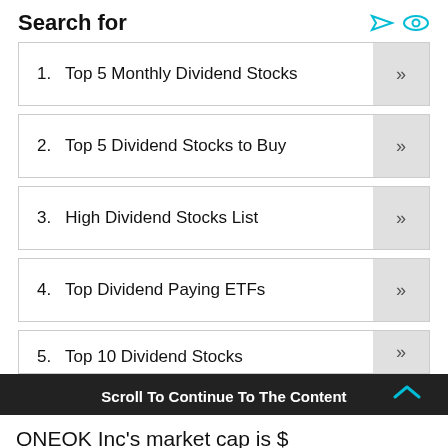Search for
1.  Top 5 Monthly Dividend Stocks
2.  Top 5 Dividend Stocks to Buy
3.  High Dividend Stocks List
4.  Top Dividend Paying ETFs
5.  Top 10 Dividend Stocks
Scroll To Continue To The Content
ONEOK Inc's market cap is $ 27,389,450,540 and has a PE ratio of 19.07. The stock price closed yesterday at $ 61.42 and has a 52 week low/high of $ 38.90 and